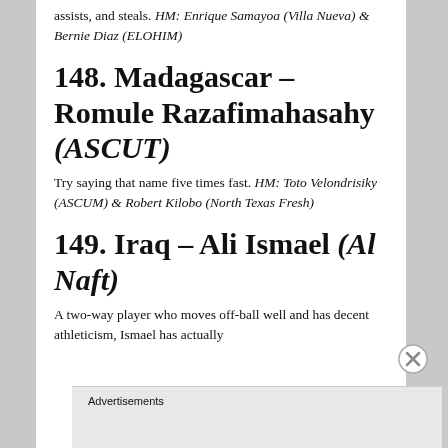assists, and steals. HM: Enrique Samayoa (Villa Nueva) & Bernie Diaz (ELOHIM)
148. Madagascar – Romule Razafimahasahy (ASCUT)
Try saying that name five times fast. HM: Toto Velondrisiky (ASCUM) & Robert Kilobo (North Texas Fresh)
149. Iraq – Ali Ismael (Al Naft)
A two-way player who moves off-ball well and has decent athleticism, Ismael has actually
Advertisements